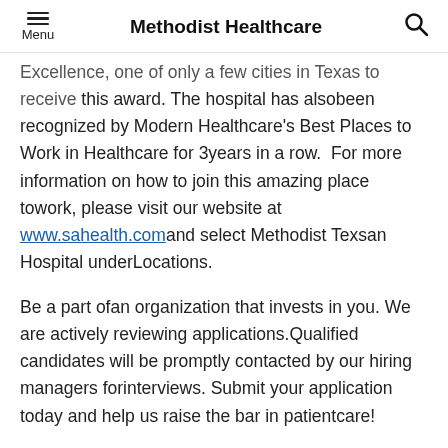Methodist Healthcare
Excellence, one of only a few cities in Texas to receive this award. The hospital has alsobeen recognized by Modern Healthcare's Best Places to Work in Healthcare for 3years in a row.  For more information on how to join this amazing place towork, please visit our website at www.sahealth.comand select Methodist Texsan Hospital underLocations.
Be a part ofan organization that invests in you. We are actively reviewing applications.Qualified candidates will be promptly contacted by our hiring managers forinterviews. Submit your application today and help us raise the bar in patientcare!